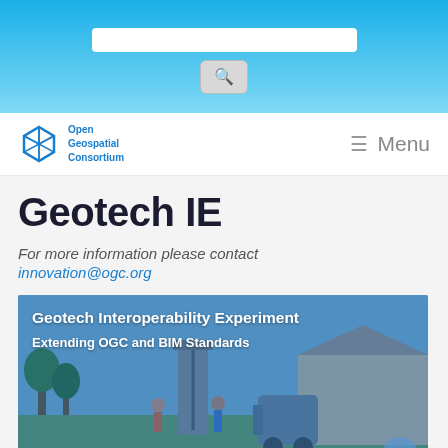[search bar and search button]
[Figure (logo): Open Geospatial Consortium logo with blue cube icon and text 'Open Geospatial Consortium']
Menu
Geotech IE
For more information please contact innovation@ogc.org
[Figure (photo): Photo of a geotechnical drilling rig and workers on a residential street, overlaid with blue tint and text 'Geotech Interoperability Experiment' and 'Extending OGC and BIM Standards']